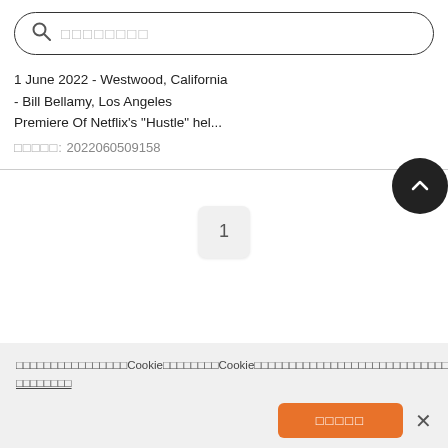🔍 □□□□□□□□
1 June 2022 - Westwood, California - Bill Bellamy, Los Angeles Premiere Of Netflix's "Hustle" hel...
□□□□□: 2022060509158
1
□□□□□□□□□□□□□□□□Cookie□□□□□□□□Cookie□□□□□□□□□□□□□□□□□□□□□□□□□□□□□□□□□□□□□□□□□□□□□□□□□□□□□□□□□□□□□□Cookie□□□□□□□□□□□□□□□□□□ □□□□□□□□